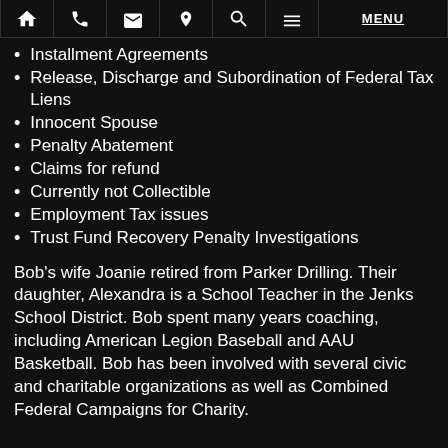Navigation bar with icons: home, phone, email, location, search, menu, MENU
Installment Agreements
Release, Discharge and Subordination of Federal Tax Liens
Innocent Spouse
Penalty Abatement
Claims for refund
Currently not Collectible
Employment Tax issues
Trust Fund Recovery Penalty Investigations
Bob's wife Joanie retired from Parker Drilling. Their daughter, Alexandra is a School Teacher in the Jenks School District. Bob spent many years coaching, including American Legion Baseball and AAU Basketball. Bob has been involved with several civic and charitable organizations as well as Combined Federal Campaigns for Charity.